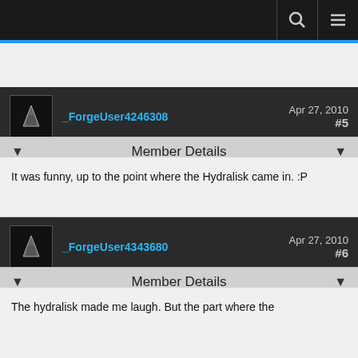_ForgeUser4246308   Apr 27, 2010   #5
Member Details
It was funny, up to the point where the Hydralisk came in. :P
_ForgeUser4343680   Apr 27, 2010   #6
Member Details
The hydralisk made me laugh. But the part where the